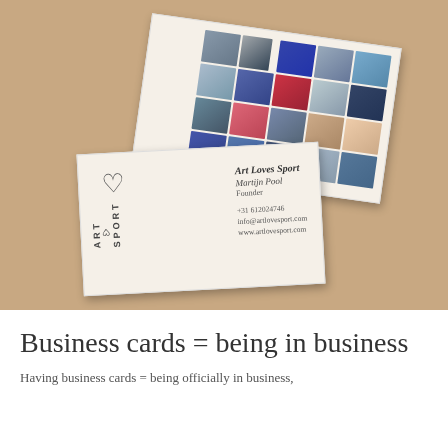[Figure (photo): Photo of two business cards for 'Art Loves Sport' on a wooden surface. The top card (back) shows a grid of colorful Instagram-style photos. The bottom card (front) displays the Art/Sport logo with a heart symbol on the left, and contact details for Martijn Pool (Founder) including phone +31 612024746, info@artlovesport.com, and www.artlovesport.com.]
Business cards = being in business
Having business cards = being officially in business,